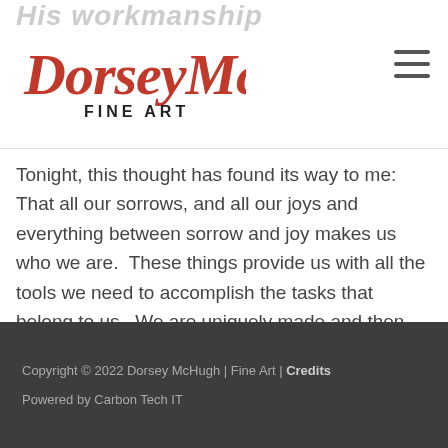His workmanship
[Figure (logo): Dorsey McHugh Fine Art logo — handwritten orange/red script for 'DorseyMcHugh' with 'FINE ART' in black sans-serif below]
Tonight, this thought has found its way to me: That all our sorrows, and all our joys and everything between sorrow and joy makes us who we are. These things provide us with all the tools we need to accomplish the tasks that belong to us. We are uniquely made and then uniquely sancitified by ...
Read More »
Copyright © 2022 Dorsey McHugh | Fine Art | Credits
Powered by Carbon Tech IT